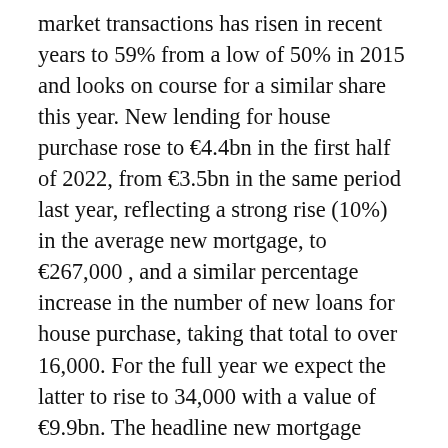market transactions has risen in recent years to 59% from a low of 50% in 2015 and looks on course for a similar share this year. New lending for house purchase rose to €4.4bn in the first half of 2022, from €3.5bn in the same period last year, reflecting a strong rise (10%) in the average new mortgage, to €267,000 , and a similar percentage increase in the number of new loans for house purchase, taking that total to over 16,000. For the full year we expect the latter to rise to 34,000 with a value of €9.9bn. The headline new mortgage lending figures include tops ups and switching, and the latter has risen sharply over the past few years and we expect a figure of €2.5bn in that category this year, up from €1.6bn in 2021.